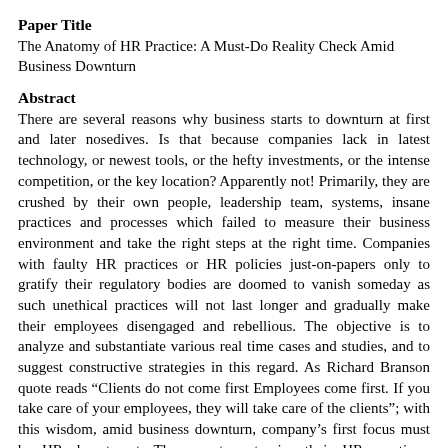Paper Title
The Anatomy of HR Practice: A Must-Do Reality Check Amid Business Downturn
Abstract
There are several reasons why business starts to downturn at first and later nosedives. Is that because companies lack in latest technology, or newest tools, or the hefty investments, or the intense competition, or the key location? Apparently not! Primarily, they are crushed by their own people, leadership team, systems, insane practices and processes which failed to measure their business environment and take the right steps at the right time. Companies with faulty HR practices or HR policies just-on-papers only to gratify their regulatory bodies are doomed to vanish someday as such unethical practices will not last longer and gradually make their employees disengaged and rebellious. The objective is to analyze and substantiate various real time cases and studies, and to suggest constructive strategies in this regard. As Richard Branson quote reads “Clients do not come first Employees come first. If you take care of your employees, they will take care of the clients”; with this wisdom, amid business downturn, company’s first focus must be HR department. They must anatomize their HR practices, conduct fact & reality checks, amend necessary gaps and positively address employees’ issues before situation gets out of their control. Keywords: Human Resource, HR Audit, HR Practice